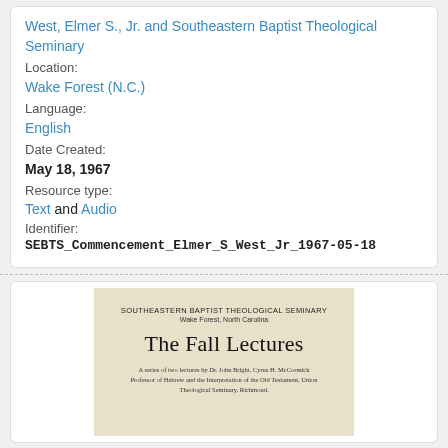West, Elmer S., Jr. and Southeastern Baptist Theological Seminary
Location:
Wake Forest (N.C.)
Language:
English
Date Created:
May 18, 1967
Resource type:
Text and Audio
Identifier:
SEBTS_Commencement_Elmer_S_West_Jr_1967-05-18
[Figure (photo): Scanned title page from a Southeastern Baptist Theological Seminary document showing 'The Fall Lectures' — a series of two lectures by Dr. John Bright, Cyrus H. McCormick Professor of Hebrew and the Interpretation of the Old Testament, Union Theological Seminary, Richmond.]